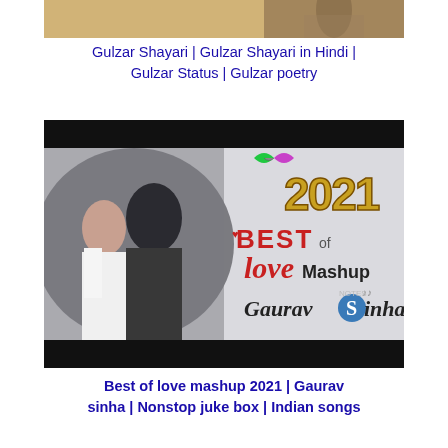[Figure (photo): Partial image of Gulzar content with golden/tan background, partially cropped at top]
Gulzar Shayari | Gulzar Shayari in Hindi | Gulzar Status | Gulzar poetry
[Figure (photo): Best of love mashup 2021 by Gaurav Sinha video thumbnail showing a couple embracing with decorative text overlay including '2021', 'BEST of love Mashup', and 'Gaurav Sinha']
Best of love mashup 2021 | Gaurav sinha | Nonstop juke box | Indian songs